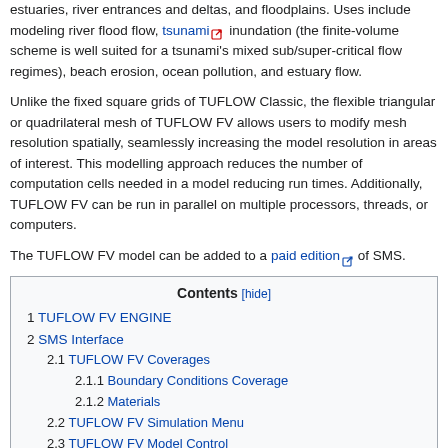estuaries, river entrances and deltas, and floodplains. Uses include modeling river flood flow, tsunami inundation (the finite-volume scheme is well suited for a tsunami's mixed sub/super-critical flow regimes), beach erosion, ocean pollution, and estuary flow.
Unlike the fixed square grids of TUFLOW Classic, the flexible triangular or quadrilateral mesh of TUFLOW FV allows users to modify mesh resolution spatially, seamlessly increasing the model resolution in areas of interest. This modelling approach reduces the number of computation cells needed in a model reducing run times. Additionally, TUFLOW FV can be run in parallel on multiple processors, threads, or computers.
The TUFLOW FV model can be added to a paid edition of SMS.
| Contents |
| --- |
| 1  TUFLOW FV ENGINE |
| 2  SMS Interface |
| 2.1  TUFLOW FV Coverages |
| 2.1.1  Boundary Conditions Coverage |
| 2.1.2  Materials |
| 2.2  TUFLOW FV Simulation Menu |
| 2.3  TUFLOW FV Model Control |
| 2.3.1  General |
| 2.3.2  Time |
| 2.3.3  Global parameters |